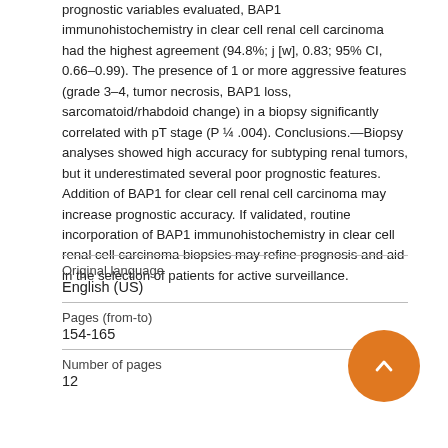prognostic variables evaluated, BAP1 immunohistochemistry in clear cell renal cell carcinoma had the highest agreement (94.8%; j [w], 0.83; 95% CI, 0.66–0.99). The presence of 1 or more aggressive features (grade 3–4, tumor necrosis, BAP1 loss, sarcomatoid/rhabdoid change) in a biopsy significantly correlated with pT stage (P ¼ .004). Conclusions.—Biopsy analyses showed high accuracy for subtyping renal tumors, but it underestimated several poor prognostic features. Addition of BAP1 for clear cell renal cell carcinoma may increase prognostic accuracy. If validated, routine incorporation of BAP1 immunohistochemistry in clear cell renal cell carcinoma biopsies may refine prognosis and aid in the selection of patients for active surveillance.
| Field | Value |
| --- | --- |
| Original language | English (US) |
| Pages (from-to) | 154-165 |
| Number of pages | 12 |